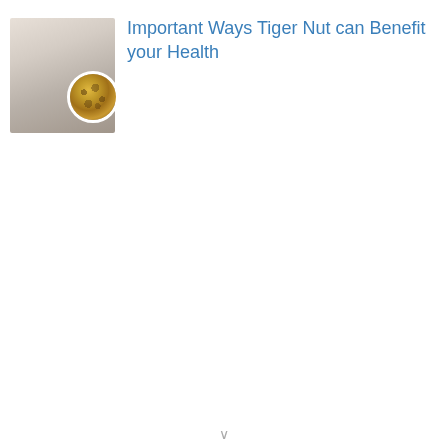[Figure (photo): Thumbnail image showing a milky tiger nut drink in a glass on the left, with a circular inset image of tiger nuts (small round yellowish-brown tubers) overlaid in the bottom-right of the thumbnail.]
Important Ways Tiger Nut can Benefit your Health